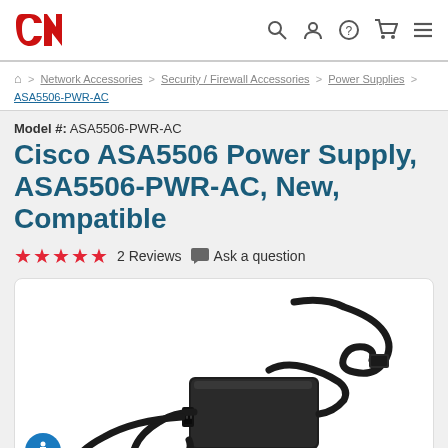CK [logo] — navigation icons: search, account, help, cart, menu
Home > Network Accessories > Security / Firewall Accessories > Power Supplies > ASA5506-PWR-AC
Model #: ASA5506-PWR-AC
Cisco ASA5506 Power Supply, ASA5506-PWR-AC, New, Compatible
★★★★★  2 Reviews  💬 Ask a question
[Figure (photo): Black AC power supply adapter/brick with attached power cord and cable, shown on white background]